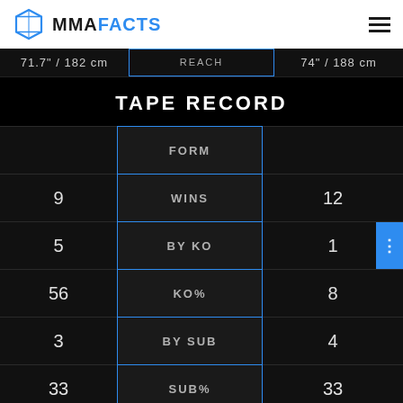MMA FACTS
|  | REACH |  |
| --- | --- | --- |
| 71.7" / 182 cm | REACH | 74" / 188 cm |
TAPE RECORD
|  | FORM |  |
| --- | --- | --- |
| 9 | WINS | 12 |
| 5 | BY KO | 1 |
| 56 | KO% | 8 |
| 3 | BY SUB | 4 |
| 33 | SUB% | 33 |
| 3 | LOSES | 7 |